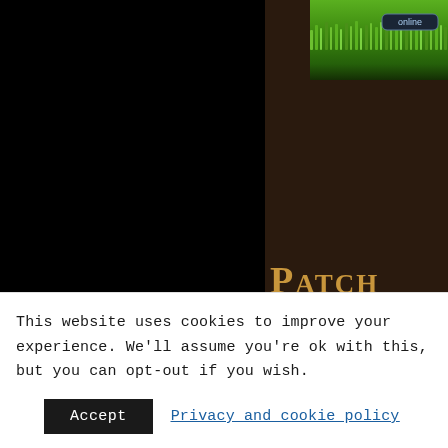[Figure (screenshot): Game website screenshot showing dark fantasy MMO interface with grass/nature header image and 'online' badge, dark brown wooden background panel, patch notes title 'Patch' visible, bullet list of bugfixes]
Patch
Bugfix: Fixed an issue that was causing
Bugfix: Another fix to allow proper trig
Bugfix: Fixes to UI lag issues.
Bugfix: Moon metal archaeology fragme
Bugfix: Can no longer place merchants o
PVP Change: Must now close a member
This website uses cookies to improve your experience. We'll assume you're ok with this, but you can opt-out if you wish.
Accept   Privacy and cookie policy